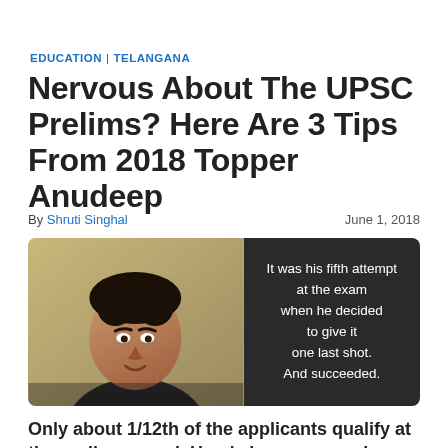EDUCATION | TELANGANA
Nervous About The UPSC Prelims? Here Are 3 Tips From 2018 Topper Anudeep
By Shruti Singhal
June 1, 2018
[Figure (photo): Portrait photo of Anudeep, the 2018 UPSC topper, smiling, with a dark overlay quote panel on the right reading: 'It was his fifth attempt at the exam when he decided to give it one last shot. And succeeded.']
Only about 1/12th of the applicants qualify at the prelims round. Here's how you can be one of them